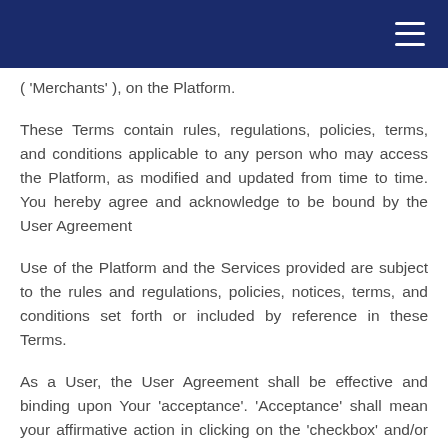( 'Merchants' ), on the Platform.
These Terms contain rules, regulations, policies, terms, and conditions applicable to any person who may access the Platform, as modified and updated from time to time. You hereby agree and acknowledge to be bound by the User Agreement
Use of the Platform and the Services provided are subject to the rules and regulations, policies, notices, terms, and conditions set forth or included by reference in these Terms.
As a User, the User Agreement shall be effective and binding upon Your 'acceptance'. 'Acceptance' shall mean your affirmative action in clicking on the 'checkbox' and/or the 'Accept' button and on entering information as requested on the sign-up